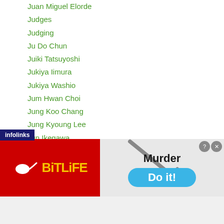Juan Miguel Elorde
Judges
Judging
Ju Do Chun
Juiki Tatsuyoshi
Jukiya Iimura
Jukiya Washio
Jum Hwan Choi
Jung Koo Chang
Jung Kyoung Lee
Jun Ikegawa
Junpei Tsujimoto Vs Daiki Ogura
Junto Nakatani
Junya Shimada
Ju Wu
Jyoji Morikawa
[Figure (screenshot): BitLife mobile game advertisement banner with red background, yellow BitLife logo text, sperm icon, and blue Do it! button with Murder text on right side]